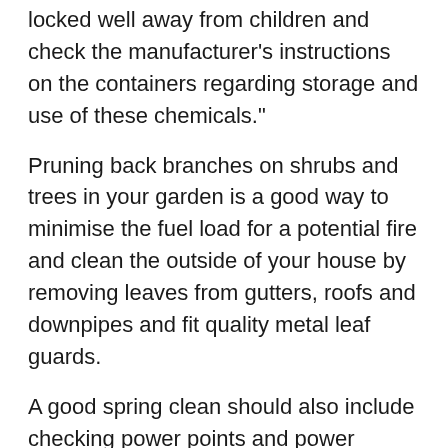make sure garden and household chemicals are locked well away from children and check the manufacturer's instructions on the containers regarding storage and use of these chemicals."
Pruning back branches on shrubs and trees in your garden is a good way to minimise the fuel load for a potential fire and clean the outside of your house by removing leaves from gutters, roofs and downpipes and fit quality metal leaf guards.
A good spring clean should also include checking power points and power boards to make sure they're not overloaded and inspecting electrical cords and equipment for damage.
"We would ask households to take the time to spring clean their smoke alarms by using a vacuum cleaner to remove any dust particles, which can hinder the